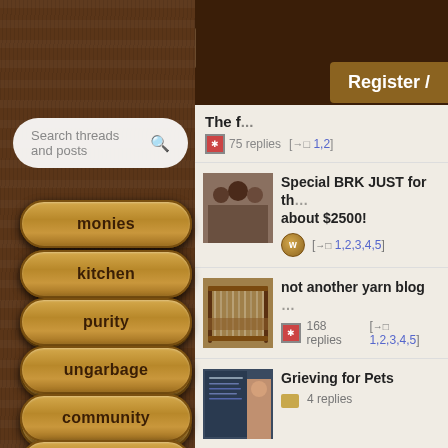[Figure (screenshot): Mobile forum app screenshot with wood-textured sidebar navigation and thread list on right]
Search threads and posts
monies
kitchen
purity
ungarbage
community
wilderness
fiber arts
Register /
The f... 75 replies [→□ 1,2]
Special BRK JUST for th... about $2500! [→□ 1,2,3,4,5]
not another yarn blog ... 168 replies [→□ 1,2,3,4,5]
Grieving for Pets 4 replies
in search of natural clo... 167 replies [→□ 1,2,3...]